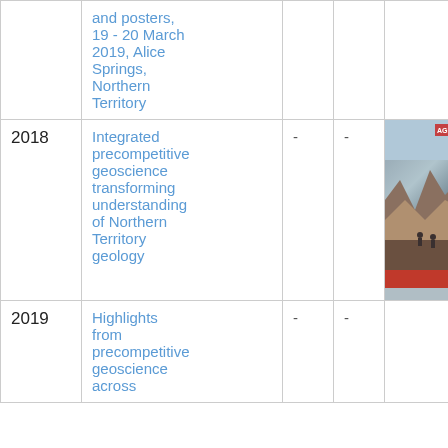| Year | Title | - | - | Image |
| --- | --- | --- | --- | --- |
|  | and posters, 19 - 20 March 2019, Alice Springs, Northern Territory | - | - |  |
| 2018 | Integrated precompetitive geoscience transforming understanding of Northern Territory geology | - | - | [image] |
| 2019 | Highlights from precompetitive geoscience across | - | - |  |